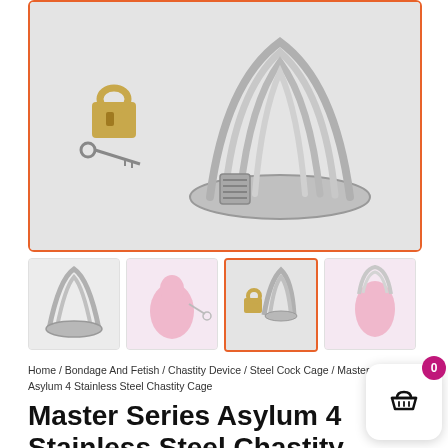[Figure (photo): Main product photo: stainless steel chastity cage with lock and keys on white background]
[Figure (photo): Thumbnail 1: product components on white background]
[Figure (photo): Thumbnail 2: pink chastity device on white background]
[Figure (photo): Thumbnail 3: steel chastity cage with lock on white background (active/selected)]
[Figure (photo): Thumbnail 4: pink chastity device side view on white background]
Home / Bondage And Fetish / Chastity Device / Steel Cock Cage / Master Series Asylum 4 Stainless Steel Chastity Cage
Master Series Asylum 4 Stainless Steel Chastity Cage